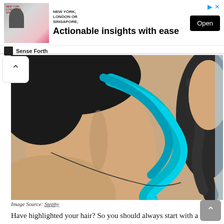[Figure (infographic): Advertisement banner for Sense Forth with image of a man at a conference, text reading NEW YORK, LONDON OR SINGAPORE, headline Actionable insights with ease, and an Open button. Play and close controls in top right.]
[Figure (photo): Close-up photo of a woman's back and neck showing dark hair with teal/blue highlights styled in curls, wearing a thin strap. Side profile visible on right.]
Image Source: Stephy
Have highlighted your hair? So you should always start with a hairstyle that defines your highlights. There's no point in carrying a hairstyle that doesn't make your highlights bloom up in your